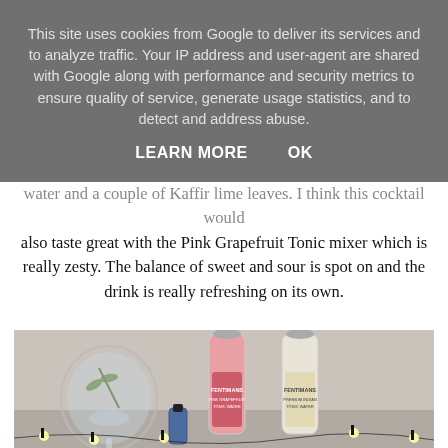This site uses cookies from Google to deliver its services and to analyze traffic. Your IP address and user-agent are shared with Google along with performance and security metrics to ensure quality of service, generate usage statistics, and to detect and address abuse.
LEARN MORE    OK
water and a couple of Kaffir lime leaves. I think this cocktail would also taste great with the Pink Grapefruit Tonic mixer which is really zesty. The balance of sweet and sour is spot on and the drink is really refreshing on its own.
[Figure (photo): A gin and tonic cocktail in a large balloon glass with herbs, alongside two small Fentimans tonic water bottles (Pink Grapefruit Tonic Water and Premium Indian Tonic Water), with a small blue gin bottle and string fairy lights in the background.]